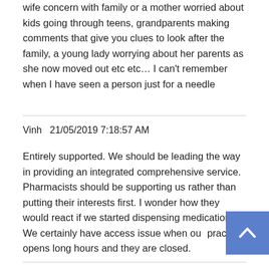wife concern with family or a mother worried about kids going through teens, grandparents making comments that give you clues to look after the family, a young lady worrying about her parents as she now moved out etc etc… I can't remember when I have seen a person just for a needle
Vinh  21/05/2019 7:18:57 AM
Entirely supported. We should be leading the way in providing an integrated comprehensive service. Pharmacists should be supporting us rather than putting their interests first. I wonder how they would react if we started dispensing medications? We certainly have access issue when our practice opens long hours and they are closed.